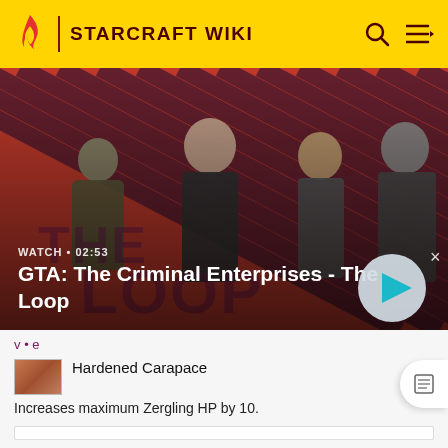STARCRAFT WIKI
[Figure (screenshot): Video banner showing GTA: The Criminal Enterprises - The Loop promotional image with characters on a diagonal striped red/pink background. Shows WATCH • 02:53 label and a play button.]
GTA: The Criminal Enterprises - The Loop
v • e
[Figure (photo): Small thumbnail image of Hardened Carapace item]
Hardened Carapace
Increases maximum Zergling HP by 10.